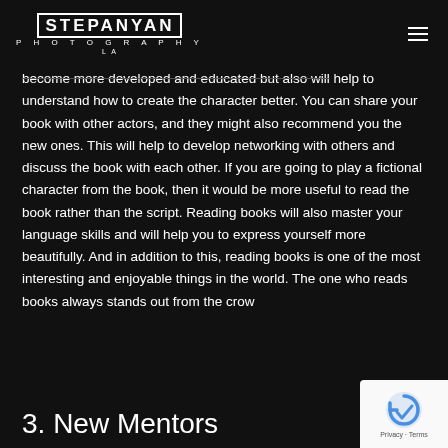STEPANYAN PHOTOGRAPHY LA
become more developed and educated but also will help to understand how to create the character better. You can share your book with other actors, and they might also recommend you the new ones. This will help to develop networking with others and discuss the book with each other. If you are going to play a fictional character from the book, then it would be more useful to read the book rather than the script. Reading books will also master your language skills and will help you to express yourself more beautifully. And in addition to this, reading books is one of the most interesting and enjoyable things in the world. The one who reads books always stands out from the crow
3. New Mentors